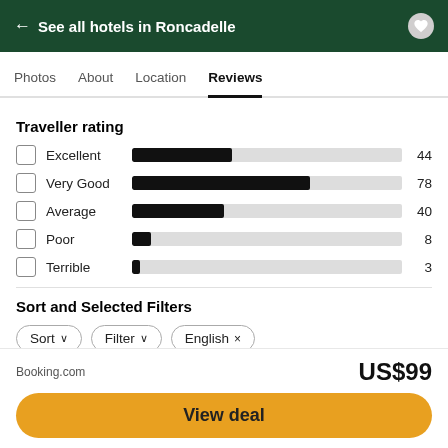← See all hotels in Roncadelle
Photos   About   Location   Reviews
Traveller rating
[Figure (bar-chart): Traveller rating]
Sort and Selected Filters
Sort ∨   Filter ∨   English ×
Booking.com
US$99
View deal